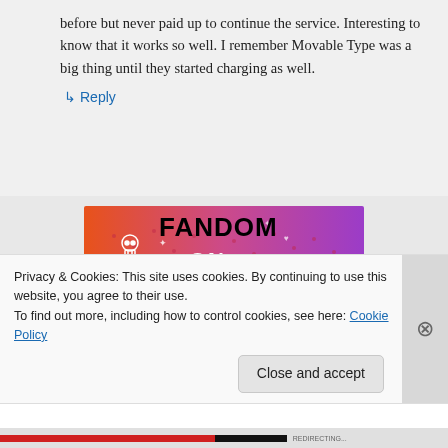before but never paid up to continue the service. Interesting to know that it works so well. I remember Movable Type was a big thing until they started charging as well.
↳ Reply
[Figure (photo): Colorful Tumblr 'FANDOM ON tumblr' banner image with orange-to-purple gradient background, decorative doodles, skulls, hearts, arrows, and large black and white text.]
Privacy & Cookies: This site uses cookies. By continuing to use this website, you agree to their use.
To find out more, including how to control cookies, see here: Cookie Policy
Close and accept